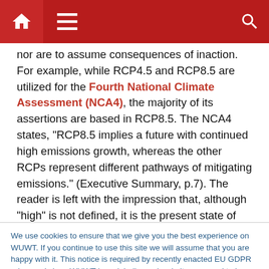Navigation bar with home, menu, and search icons
nor are to assume consequences of inaction. For example, while RCP4.5 and RCP8.5 are utilized for the Fourth National Climate Assessment (NCA4), the majority of its assertions are based in RCP8.5. The NCA4 states, “RCP8.5 implies a future with continued high emissions growth, whereas the other RCPs represent different pathways of mitigating emissions.” (Executive Summary, p.7). The reader is left with the impression that, although “high” is not defined, it is the present state of things and RCP8.5 delineates how it will grow higher. Further, the
We use cookies to ensure that we give you the best experience on WUWT. If you continue to use this site we will assume that you are happy with it. This notice is required by recently enacted EU GDPR rules, and since WUWT is a globally read website, we need to keep the bureaucrats off our case! Cookie Policy
This article employs some quantitative analysis and the